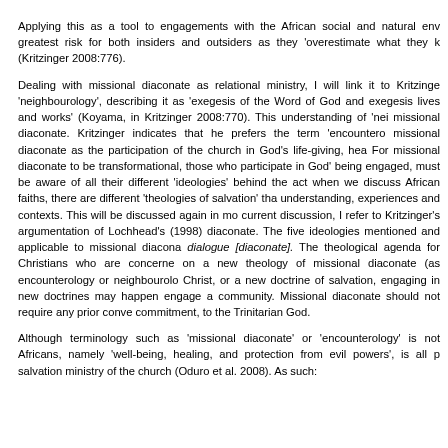Applying this as a tool to engagements with the African social and natural env... greatest risk for both insiders and outsiders as they 'overestimate what they k... (Kritzinger 2008:776).
Dealing with missional diaconate as relational ministry, I will link it to Kritzinge... 'neighbourology', describing it as 'exegesis of the Word of God and exegesis ... lives and works' (Koyama, in Kritzinger 2008:770). This understanding of 'nei... missional diaconate. Kritzinger indicates that he prefers the term 'encountero... missional diaconate as the participation of the church in God's life-giving, hea... For missional diaconate to be transformational, those who participate in God'... being engaged, must be aware of all their different 'ideologies' behind the act... when we discuss African faiths, there are different 'theologies of salvation' tha... understanding, experiences and contexts. This will be discussed again in mo... current discussion, I refer to Kritzinger's argumentation of Lochhead's (1998)... diaconate. The five ideologies mentioned and applicable to missional diacona... dialogue [diaconate]. The theological agenda for Christians who are concerne... on a new theology of missional diaconate (as encounterology or neighbourolo... Christ, or a new doctrine of salvation, engaging in new doctrines may happen... engage a community. Missional diaconate should not require any prior conve... commitment, to the Trinitarian God.
Although terminology such as 'missional diaconate' or 'encounterology' is not... Africans, namely 'well-being, healing, and protection from evil powers', is all p... salvation ministry of the church (Oduro et al. 2008). As such: